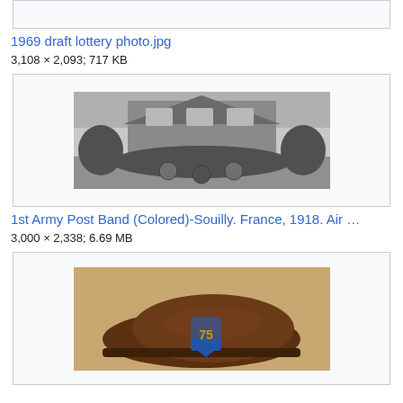[Figure (other): Top image box partially visible (cropped), gray background placeholder]
1969 draft lottery photo.jpg
3,108 × 2,093; 717 KB
[Figure (photo): Black and white photograph of the 1st Army Post Band (Colored) in Souilly, France, 1918. Group of soldiers posed in front of a building.]
1st Army Post Band (Colored)-Souilly. France, 1918. Air …
3,000 × 2,338; 6.69 MB
[Figure (photo): Color photograph of a brown military beret with a blue unit crest/patch on it, displayed on a surface.]